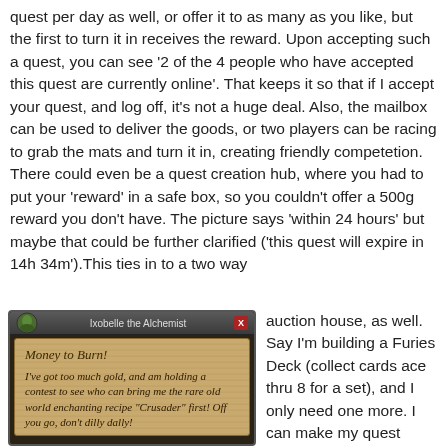quest per day as well, or offer it to as many as you like, but the first to turn it in receives the reward. Upon accepting such a quest, you can see '2 of the 4 people who have accepted this quest are currently online'. That keeps it so that if I accept your quest, and log off, it's not a huge deal. Also, the mailbox can be used to deliver the goods, or two players can be racing to grab the mats and turn it in, creating friendly competetion. There could even be a quest creation hub, where you had to put your 'reward' in a safe box, so you couldn't offer a 500g reward you don't have. The picture says 'within 24 hours' but maybe that could be further clarified ('this quest will expire in 14h 34m').This ties in to a two way
[Figure (screenshot): Screenshot of a World of Warcraft quest dialog box titled 'Ixobelle the Alchemist' with quest 'Money to Burn!' text: 'I've got too much gold, and am holding a contest to see who can bring me the rare old world enchanting recipe "Crusader" first! Off you go, don't dilly dally!']
auction house, as well. Say I'm building a Furies Deck (collect cards ace thru 8 for a set), and I only need one more. I can make my quest 'bring me a (shift click item link to insert it to your quest text) FOUR OF